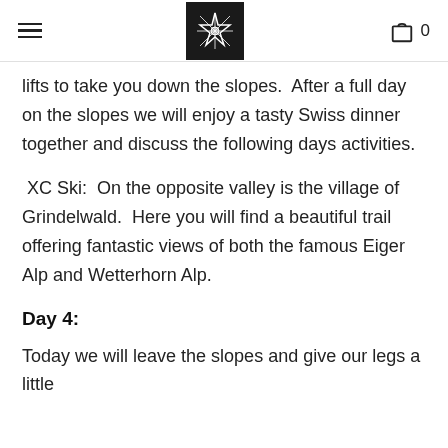≡  [logo]  🛍 0
lifts to take you down the slopes.  After a full day on the slopes we will enjoy a tasty Swiss dinner together and discuss the following days activities.
XC Ski:  On the opposite valley is the village of Grindelwald.  Here you will find a beautiful trail offering fantastic views of both the famous Eiger Alp and Wetterhorn Alp.
Day 4:
Today we will leave the slopes and give our legs a little